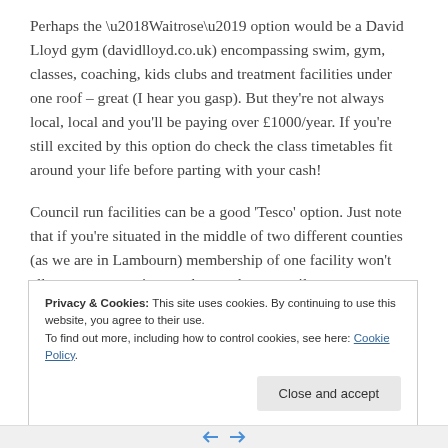Perhaps the ‘Waitrose’ option would be a David Lloyd gym (davidlloyd.co.uk) encompassing swim, gym, classes, coaching, kids clubs and treatment facilities under one roof – great (I hear you gasp). But they’re not always local, local and you’ll be paying over £1000/year. If you’re still excited by this option do check the class timetables fit around your life before parting with your cash!
Council run facilities can be a good ‘Tesco’ option. Just note that if you’re situated in the middle of two different counties (as we are in Lambourn) membership of one facility won’t allow you to use sites run by another council.
Privacy & Cookies: This site uses cookies. By continuing to use this website, you agree to their use.
To find out more, including how to control cookies, see here: Cookie Policy